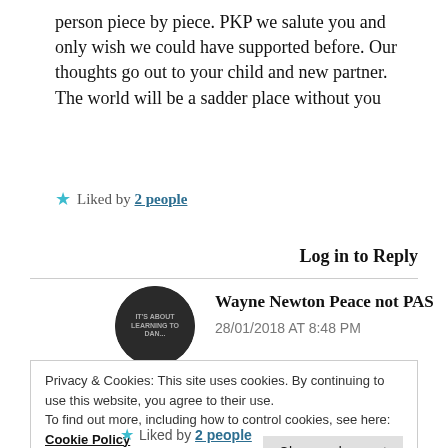person piece by piece. PKP we salute you and only wish we could have supported before. Our thoughts go out to your child and new partner. The world will be a sadder place without you
Liked by 2 people
Log in to Reply
Wayne Newton Peace not PAS
28/01/2018 AT 8:48 PM
[Figure (photo): Circular avatar/profile photo with dark background and text reading 'IT'S ABOUT LEARNING TO DAN...']
Privacy & Cookies: This site uses cookies. By continuing to use this website, you agree to their use.
To find out more, including how to control cookies, see here:
Cookie Policy
Close and accept
Liked by 2 people